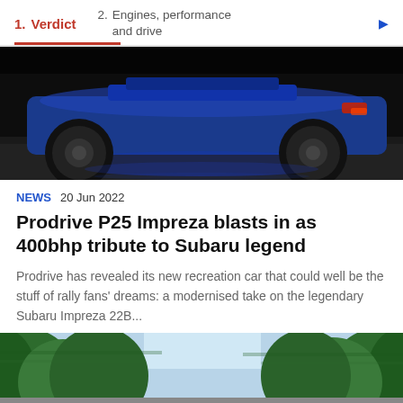1. Verdict  2. Engines, performance and drive
[Figure (photo): Rear view of a blue Subaru Impreza on dark road surface, night/studio lighting]
NEWS  20 Jun 2022
Prodrive P25 Impreza blasts in as 400bhp tribute to Subaru legend
Prodrive has revealed its new recreation car that could well be the stuff of rally fans' dreams: a modernised take on the legendary Subaru Impreza 22B...
[Figure (photo): Green forest trees with motion blur, car driving on road]